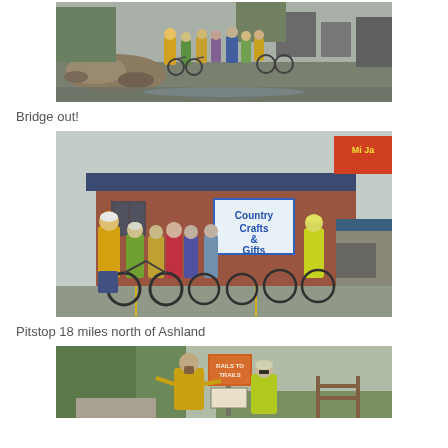[Figure (photo): Group of cyclists with bikes stopped at a washed-out bridge or road with debris and mud, rainy conditions]
Bridge out!
[Figure (photo): Group of cyclists with bikes in rain gear standing in front of a brick building with a 'Country Crafts & Gifts' sign and a Mija restaurant sign in background]
Pitstop 18 miles north of Ashland
[Figure (photo): Two cyclists posing at a trail sign (Rails to Trails), lush green trees in background]